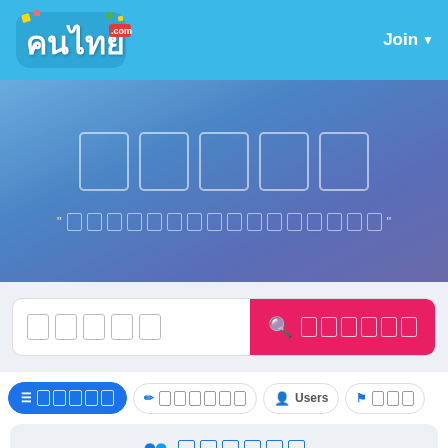[Figure (screenshot): Thai social network website header with logo 'คนไทย' and Join button on blue navbar]
คนไทย (Thai social platform hero section with large outlined characters)
Subtitle text in Thai script below hero title
[Figure (screenshot): Search bar with placeholder text and pink search button]
Filter tabs: active tab (grid icon, Thai text), blog tab, Users tab, flag tab
Group/community section with people icon and Thai text